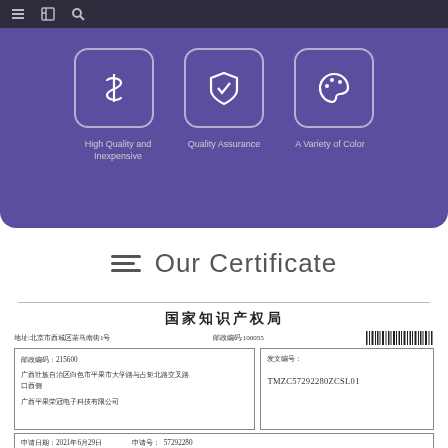[Figure (infographic): Purple banner with three feature icons: dollar sign (High Quality and Inexpensive), shield checkmark (Quality Assurance), palette (A Variety of Color)]
Our Certificate
[Figure (other): Chinese patent/certificate document from 国家知识产权局 (National Intellectual Property Administration). Address: 地址:北京市西城区茶马南街1号, 邮政编码:100055. Contains barcode. Left box: 邮政编码 215600, address in Guangxi, applicant 广西平果荣冠电子科技有限公司. Right box: 发文编号 TMZC57292280ZCSL01. Bottom: 申请日期 2021年6月29日, 申请号 57292280]